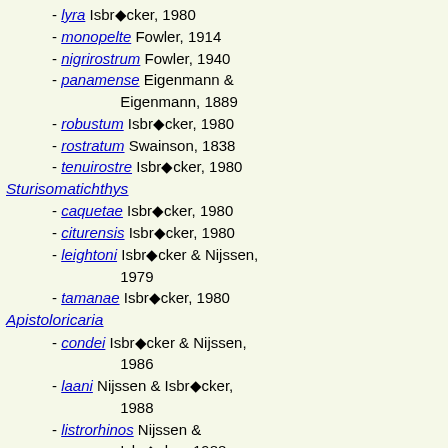- lyra Isbrücker, 1980
- monopelte Fowler, 1914
- nigrirostrum Fowler, 1940
- panamense Eigenmann & Eigenmann, 1889
- robustum Isbrücker, 1980
- rostratum Swainson, 1838
- tenuirostre Isbrücker, 1980
Sturisomatichthys
- caquetae Isbrücker, 1980
- citurensis Isbrücker, 1980
- leightoni Isbrücker & Nijssen, 1979
- tamanae Isbrücker, 1980
Apistoloricaria
- condei Isbrücker & Nijssen, 1986
- laani Nijssen & Isbrücker, 1988
- listrorhinos Nijssen & Isbrücker, 1988
- ommation Nijssen & Isbrücker, 1988
Brochiloricaria
- chaulioden Isbrücker, 1979